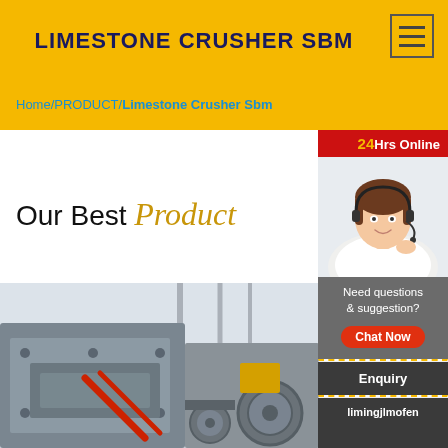LIMESTONE CRUSHER SBM
Home/PRODUCT/Limestone Crusher Sbm
Our Best Product
[Figure (photo): Industrial limestone crusher machine in a factory setting, showing heavy grey metallic equipment with red-painted rods and large gear wheels.]
[Figure (photo): Sidebar showing a female customer service representative wearing a headset, with '24Hrs Online' red banner at top, 'Need questions & suggestion?' text, 'Chat Now' button, 'Enquiry' link, and 'limingjlmofen' link.]